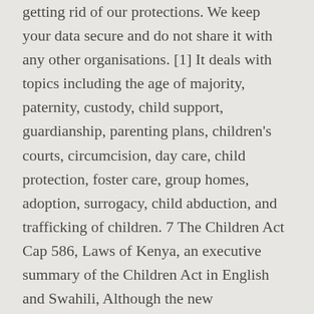getting rid of our protections. We keep your data secure and do not share it with any other organisations. [1] It deals with topics including the age of majority, paternity, custody, child support, guardianship, parenting plans, children's courts, circumcision, day care, child protection, foster care, group homes, adoption, surrogacy, child abduction, and trafficking of children. 7 The Children Act Cap 586, Laws of Kenya, an executive summary of the Children Act in English and Swahili, Although the new Government stopped short of saying it would “scrap” the Human Rights Act immediately, it was made clear in the Queen’s speech that they ‘will bring forward proposals for a British Bill of Rights’ to replace the Act.